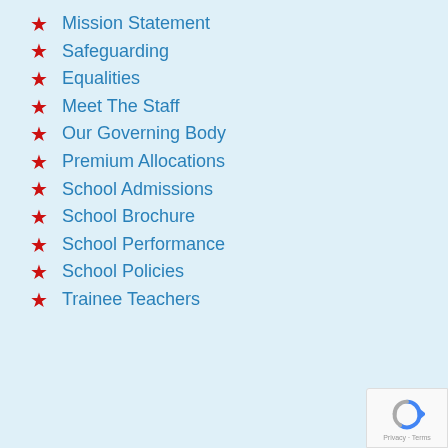Mission Statement
Safeguarding
Equalities
Meet The Staff
Our Governing Body
Premium Allocations
School Admissions
School Brochure
School Performance
School Policies
Trainee Teachers